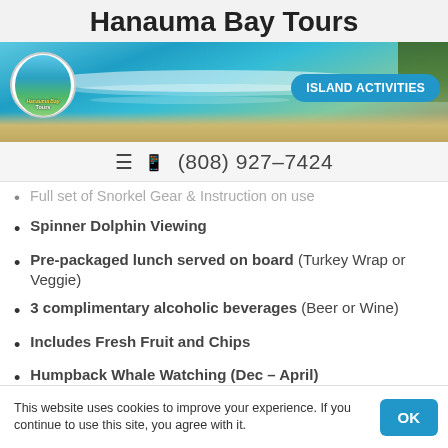Hanauma Bay Tours
[Figure (photo): Aerial/overhead photo of Hanauma Bay showing turquoise water, white waves, sandy beach and green hillside. Hanauma Bay Tours circular logo in top left. 'ISLAND ACTIVITIES' badge in top right.]
≡ 📱 (808) 927-7424
Full set of Snorkel Gear & Instruction on use
Spinner Dolphin Viewing
Pre-packaged lunch served on board (Turkey Wrap or Veggie)
3 complimentary alcoholic beverages (Beer or Wine)
Includes Fresh Fruit and Chips
Humpback Whale Watching (Dec – April)
This website uses cookies to improve your experience. If you continue to use this site, you agree with it.